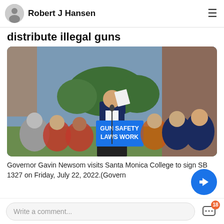Robert J Hansen
distribute illegal guns
[Figure (photo): Governor Gavin Newsom stands at a podium with a sign reading 'GUN SAFETY LAWS WORK', surrounded by supporters at Santa Monica College on Friday, July 22, 2022.]
Governor Gavin Newsom visits Santa Monica College to sign SB 1327 on Friday, July 22, 2022.(Govern